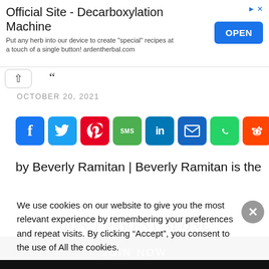[Figure (screenshot): Advertisement banner for 'Official Site - Decarboxylation Machine' with OPEN button]
OCTOBER 20, 2021
[Figure (infographic): Row of social sharing icons: Facebook, Twitter, Pinterest, SMS, LinkedIn, Email, WhatsApp, Reddit, Yummly, Share+]
by Beverly Ramitan | Beverly Ramitan is the
We use cookies on our website to give you the most relevant experience by remembering your preferences and repeat visits. By clicking “Accept”, you consent to the use of All the cookies.
DON'T PARENT ALONE
JOIN NOW